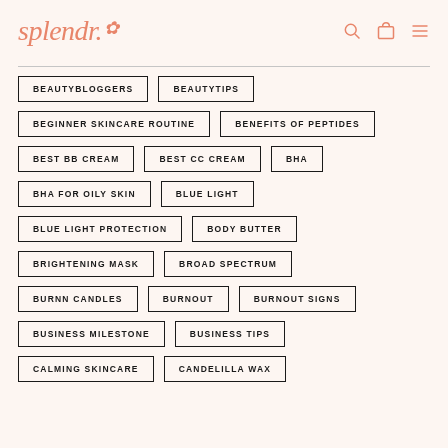splendr.
BEAUTYBLOGGERS
BEAUTYTIPS
BEGINNER SKINCARE ROUTINE
BENEFITS OF PEPTIDES
BEST BB CREAM
BEST CC CREAM
BHA
BHA FOR OILY SKIN
BLUE LIGHT
BLUE LIGHT PROTECTION
BODY BUTTER
BRIGHTENING MASK
BROAD SPECTRUM
BURNN CANDLES
BURNOUT
BURNOUT SIGNS
BUSINESS MILESTONE
BUSINESS TIPS
CALMING SKINCARE
CANDELILLA WAX